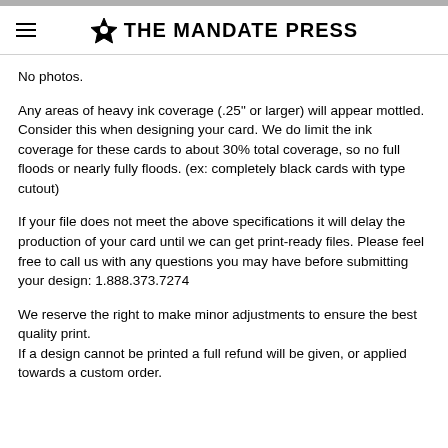THE MANDATE PRESS
No photos.
Any areas of heavy ink coverage (.25" or larger) will appear mottled. Consider this when designing your card. We do limit the ink coverage for these cards to about 30% total coverage, so no full floods or nearly fully floods. (ex: completely black cards with type cutout)
If your file does not meet the above specifications it will delay the production of your card until we can get print-ready files. Please feel free to call us with any questions you may have before submitting your design: 1.888.373.7274
We reserve the right to make minor adjustments to ensure the best quality print.
If a design cannot be printed a full refund will be given, or applied towards a custom order.